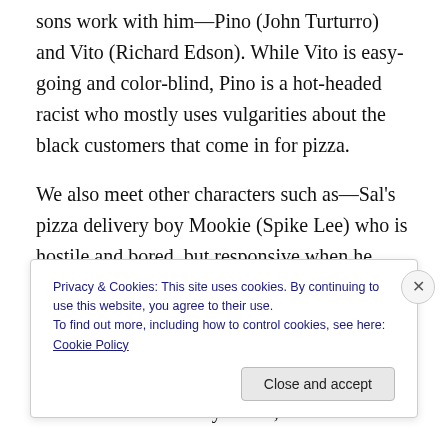sons work with him—Pino (John Turturro) and Vito (Richard Edson). While Vito is easy-going and color-blind, Pino is a hot-headed racist who mostly uses vulgarities about the black customers that come in for pizza.
We also meet other characters such as—Sal's pizza delivery boy Mookie (Spike Lee) who is hostile and bored, but responsive when he wants to be (there are times when he offers Vito advice not to listen to Pino all the time); Da Mayor (Ossie Davis), an old gentleman whom everyone else constantly ranks out because he's constantly drunk; Mother Sister (Ruby Dee) the saint herself and kind...
Privacy & Cookies: This site uses cookies. By continuing to use this website, you agree to their use.
To find out more, including how to control cookies, see here: Cookie Policy